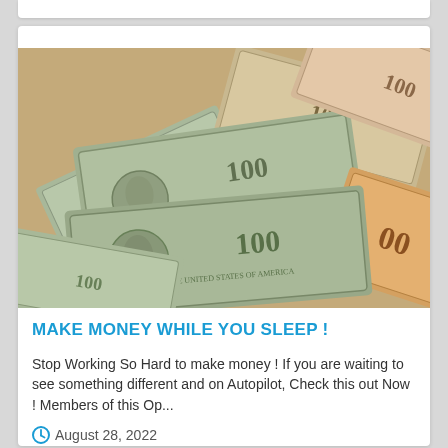[Figure (photo): A pile of US $100 dollar bills scattered overlapping each other, showing Benjamin Franklin portraits and green/orange-tinted currency.]
MAKE MONEY WHILE YOU SLEEP !
Stop Working So Hard to make money ! If you are waiting to see something different and on Autopilot, Check this out Now ! Members of this Op...
August 28, 2022